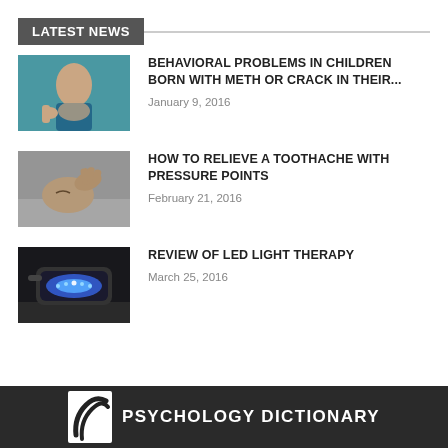LATEST NEWS
BEHAVIORAL PROBLEMS IN CHILDREN BORN WITH METH OR CRACK IN THEIR...
January 9, 2016
HOW TO RELIEVE A TOOTHACHE WITH PRESSURE POINTS
February 21, 2016
REVIEW OF LED LIGHT THERAPY
March 25, 2016
PSYCHOLOGY DICTIONARY